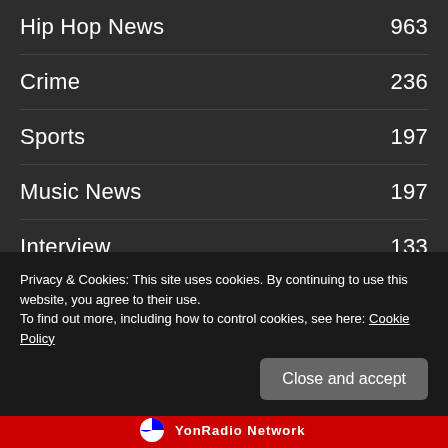Hip Hop News 963
Crime 236
Sports 197
Music News 197
Interview 133
SMH 98
Movies 59
You Got Next- 50
Reality Tv 39
Privacy & Cookies: This site uses cookies. By continuing to use this website, you agree to their use. To find out more, including how to control cookies, see here: Cookie Policy
Close and accept